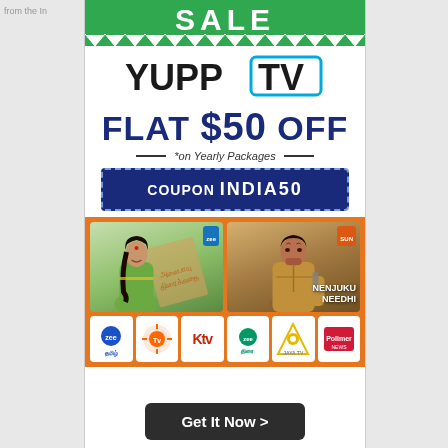from the In
[Figure (infographic): YuppTV advertisement: SALE banner in green, YuppTV logo, FLAT $50 OFF on Yearly Packages, COUPON INDIA50 in dark blue box, two Tamil TV show thumbnails, six channel logos (Zee Tamil, Sun TV, KTV, Zee Thirai, Jaya TV, Polimer News), Get It Now button]
SALE
YUPP TV
FLAT $50 OFF
*on Yearly Packages
COUPON INDIA50
NENJUKU NEEDHI
Get It Now >